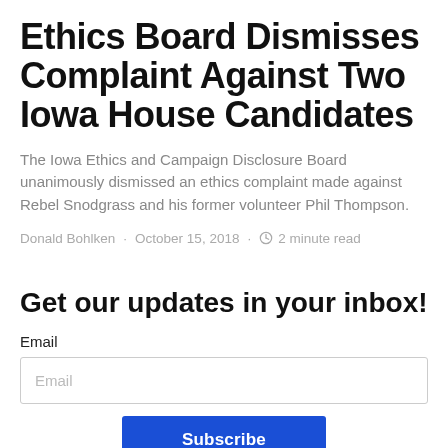Ethics Board Dismisses Complaint Against Two Iowa House Candidates
The Iowa Ethics and Campaign Disclosure Board unanimously dismissed an ethics complaint made against Rebel Snodgrass and his former volunteer Phil Thompson.
Donald Bohlken · October 15, 2018 · 2 minute read
Get our updates in your inbox!
Email